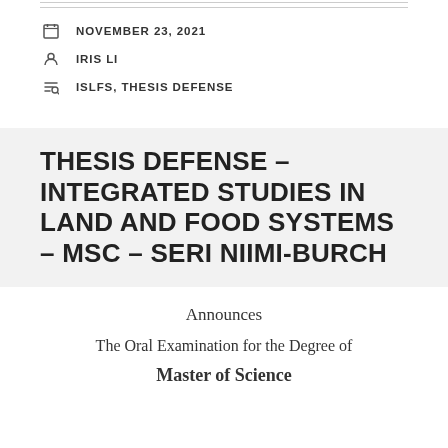NOVEMBER 23, 2021
IRIS LI
ISLFS, THESIS DEFENSE
THESIS DEFENSE – INTEGRATED STUDIES IN LAND AND FOOD SYSTEMS – MSC – SERI NIIMI-BURCH
Announces
The Oral Examination for the Degree of
Master of Science